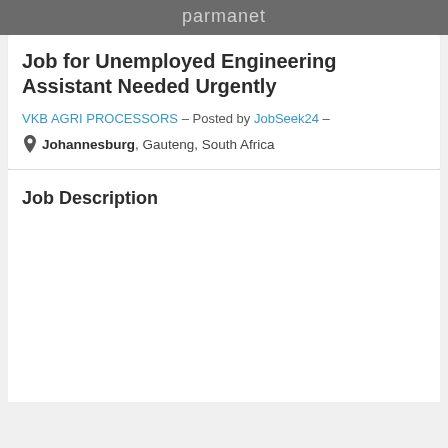parmaret
Job for Unemployed Engineering Assistant Needed Urgently
VKB AGRI PROCESSORS – Posted by JobSeek24 –
Johannesburg, Gauteng, South Africa
Job Description